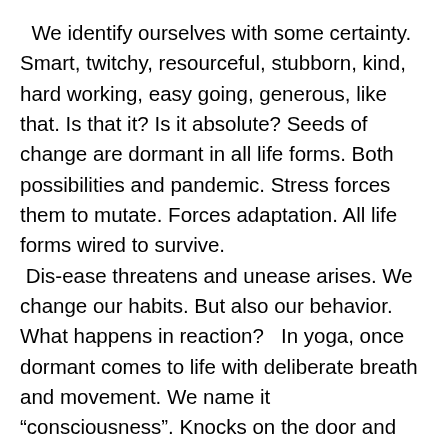We identify ourselves with some certainty. Smart, twitchy, resourceful, stubborn, kind, hard working, easy going, generous, like that. Is that it? Is it absolute? Seeds of change are dormant in all life forms. Both possibilities and pandemic. Stress forces them to mutate. Forces adaptation. All life forms wired to survive.  Dis-ease threatens and unease arises. We change our habits. But also our behavior. What happens in reaction?   In yoga, once dormant comes to life with deliberate breath and movement. We name it “consciousness”. Knocks on the door and then breaks it down. This knowingness challenges our opinion of truth.   Forget who we were before this terrible tempest. Crisis now an opportunity. For curiosity.